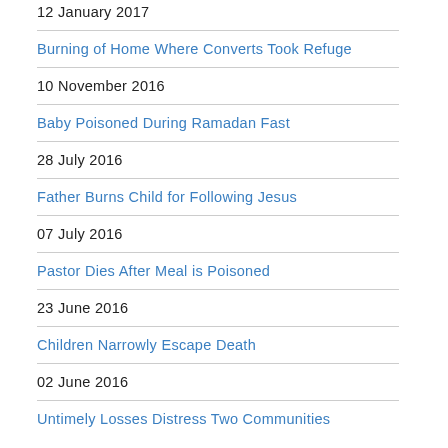12 January 2017
Burning of Home Where Converts Took Refuge
10 November 2016
Baby Poisoned During Ramadan Fast
28 July 2016
Father Burns Child for Following Jesus
07 July 2016
Pastor Dies After Meal is Poisoned
23 June 2016
Children Narrowly Escape Death
02 June 2016
Untimely Losses Distress Two Communities